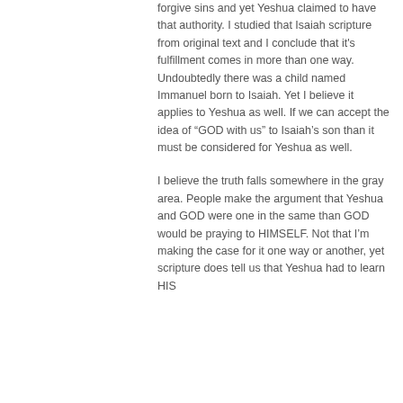forgive sins and yet Yeshua claimed to have that authority. I studied that Isaiah scripture from original text and I conclude that it's fulfillment comes in more than one way. Undoubtedly there was a child named Immanuel born to Isaiah. Yet I believe it applies to Yeshua as well. If we can accept the idea of “GOD with us” to Isaiah’s son than it must be considered for Yeshua as well.
I believe the truth falls somewhere in the gray area. People make the argument that Yeshua and GOD were one in the same than GOD would be praying to HIMSELF. Not that I’m making the case for it one way or another, yet scripture does tell us that Yeshua had to learn HIS